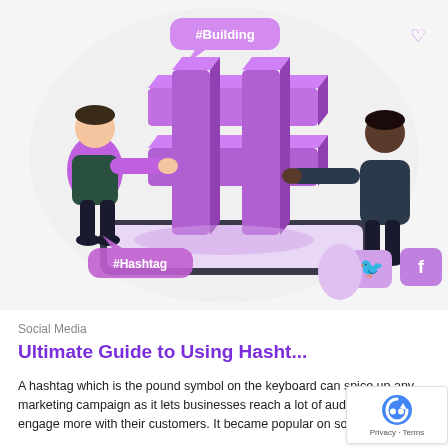[Figure (illustration): Colorful flat illustration showing two cartoon people interacting with a large 3D purple hashtag symbol (#) on a tablet/smartphone. Speech bubbles with '#Building' and '#Hashtag' text appear. Purple social media icons (Twitter bird, Facebook f) float around. Background is light gray/white oval shape.]
Social Media
Ultimate Guide to Using Hasht...
A hashtag which is the pound symbol on the keyboard can spice up any marketing campaign as it lets businesses reach a lot of audiences and engage more with their customers. It became popular on social...